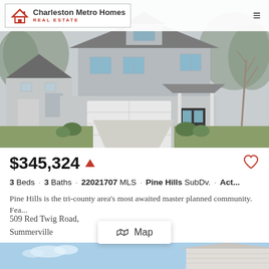[Figure (photo): Exterior photo of a new two-story house with gray siding, white garage door, driveway, and landscaped yard]
Charleston Metro Homes REAL ESTATE
$345,324
3 Beds · 3 Baths · 22021707 MLS · Pine Hills SubDv. · Act...
Pine Hills is the tri-county area's most awaited master planned community. Fea...
509 Red Twig Road,
Summerville
Listing courtesy of D R Horton I
[Figure (photo): Partial view of another house exterior against blue sky]